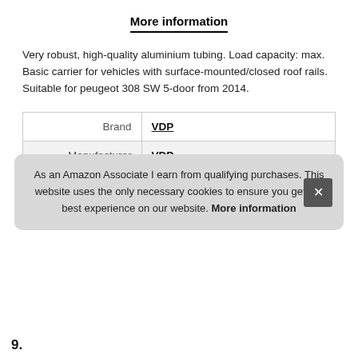More information
Very robust, high-quality aluminium tubing. Load capacity: max. Basic carrier for vehicles with surface-mounted/closed roof rails. Suitable for peugeot 308 SW 5-door from 2014.
| Brand | VDP |
| Manufacturer | VDP |
| Part Number | AUR157812_30SW_BD |
More information
As an Amazon Associate I earn from qualifying purchases. This website uses the only necessary cookies to ensure you get the best experience on our website. More information
9.